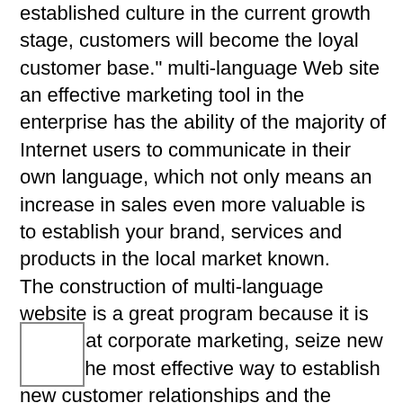established culture in the current growth stage, customers will become the loyal customer base." multi-language Web site an effective marketing tool in the enterprise has the ability of the majority of Internet users to communicate in their own language, which not only means an increase in sales even more valuable is to establish your brand, services and products in the local market known. The construction of multi-language website is a great program because it is likely that corporate marketing, seize new users, the most effective way to establish new customer relationships and the empowerment of an international image of the corporate brand of.
Multi-language Web site can bring new customers
By your multilingual website exposure in front of potential customers in various countries, regions, naturally you will get attention of these native language users.